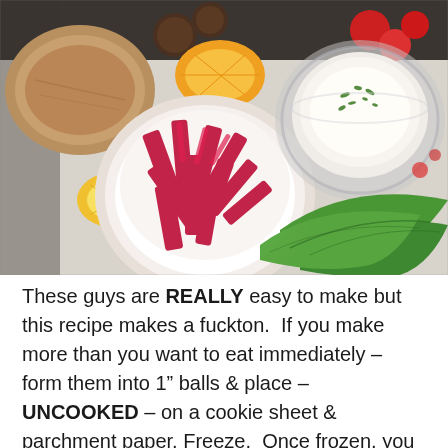[Figure (photo): Overhead food photo showing a white bowl filled with bright magenta/red pickled turnip strips, a glass bowl with white creamy dip garnished with chopped herbs, pita bread, lemon wedges, tomatoes, and green romaine lettuce leaves arranged on a white surface.]
These guys are REALLY easy to make but this recipe makes a fuckton.  If you make more than you want to eat immediately – form them into 1″ balls & place – UNCOOKED – on a cookie sheet & parchment paper. Freeze.  Once frozen, you can transfer them to a Ziplock bag.  Thaw before frying.